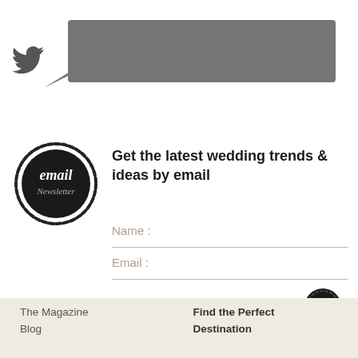[Figure (screenshot): Twitter bird icon with a speech bubble (tweet box) showing a redacted/blurred tweet message in dark grey]
[Figure (logo): Circular email newsletter badge with handwritten-style text 'email Newsletter' on black background with rough circle border]
Get the latest wedding trends & ideas by email
Name :
Email :
[Figure (other): Dark circular submit button with a right-pointing chevron/arrow inside]
The Magazine  Blog  Find the Perfect  Destination